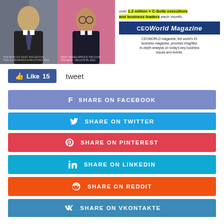[Figure (infographic): CEOWORLD Magazine advertisement banner showing photos of two executives on the left, and on the right: tagline 'over 1.2 million + C-Suite executives and business leaders each month', CEOWORLD Magazine logo, and description text.]
Like 15
tweet
SHARE ON FACEBOOK
SHARE ON TWITTER
SHARE ON PINTEREST
SHARE ON LINKEDIN
SHARE ON REDDIT
SHARE ON VKONTAKTE